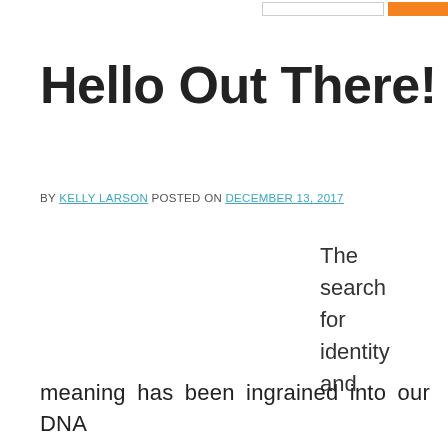Hello Out There!
BY KELLY LARSON POSTED ON DECEMBER 13, 2017
The search for identity and
meaning has been ingrained into our DNA